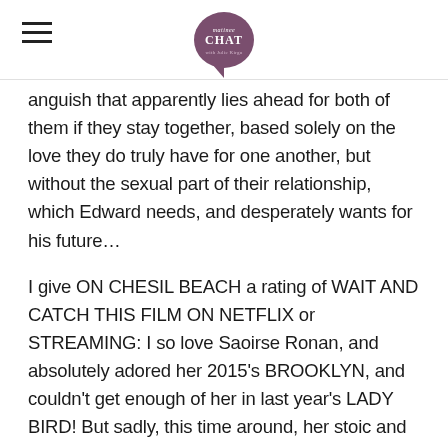matinee CHAT
anguish that apparently lies ahead for both of them if they stay together, based solely on the love they do truly have for one another, but without the sexual part of their relationship, which Edward needs, and desperately wants for his future…
I give ON CHESIL BEACH a rating of WAIT AND CATCH THIS FILM ON NETFLIX or STREAMING: I so love Saoirse Ronan, and absolutely adored her 2015's BROOKLYN, and couldn't get enough of her in last year's LADY BIRD! But sadly, this time around, her stoic and very frigid performance as